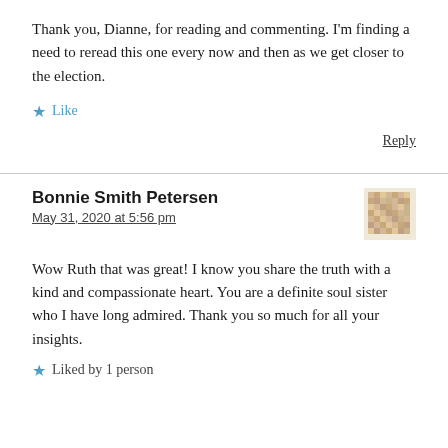Thank you, Dianne, for reading and commenting. I'm finding a need to reread this one every now and then as we get closer to the election.
★ Like
Reply
Bonnie Smith Petersen
May 31, 2020 at 5:56 pm
Wow Ruth that was great! I know you share the truth with a kind and compassionate heart. You are a definite soul sister who I have long admired. Thank you so much for all your insights.
Liked by 1 person